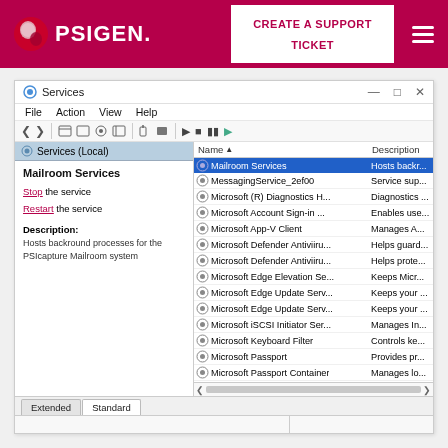PSIGEN. | CREATE A SUPPORT TICKET
[Figure (screenshot): Windows Services management console showing Mailroom Services selected and running. Left panel shows service details. Right panel lists services including Mailroom Services (Running, Automatic), MessagingService_2ef00, Microsoft (R) Diagnostics H., Microsoft Account Sign-in, Microsoft App-V Client, Microsoft Defender Antiviru. (x2), Microsoft Edge Elevation Se., Microsoft Edge Update Serv. (x2), Microsoft iSCSI Initiator Ser., Microsoft Keyboard Filter, Microsoft Passport, Microsoft Passport Container, Microsoft Software Shadow.]